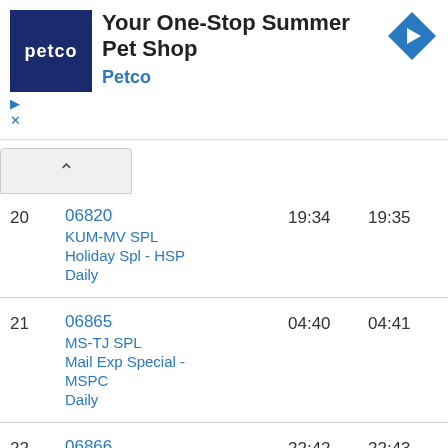[Figure (screenshot): Petco advertisement banner with logo, title 'Your One-Stop Summer Pet Shop', subtitle 'Petco', and a blue diamond arrow icon]
| # | Train | Arrival | Departure |
| --- | --- | --- | --- |
| 20 | 06820
KUM-MV SPL
Holiday Spl - HSP
Daily | 19:34 | 19:35 |
| 21 | 06865
MS-TJ SPL
Mail Exp Special - MSPC
Daily | 04:40 | 04:41 |
| 22 | 06866
TJ-MS SPL
Mail Exp Special - MSPC
Daily | 22:42 | 22:43 |